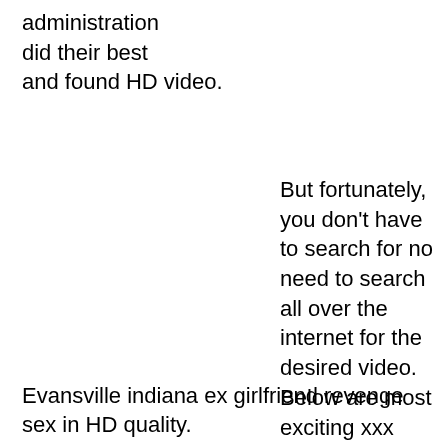administration did their best and found HD video.
But fortunately, you don't have to search for no need to search all over the internet for the desired video. Below are most exciting xxx videos with
Evansville indiana ex girlfriend revenge sex in HD quality.